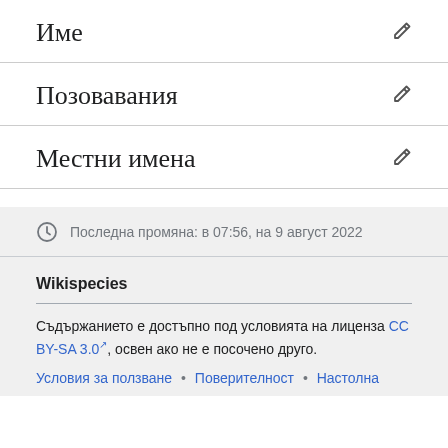Име
Позовавания
Местни имена
Последна промяна: в 07:56, на 9 август 2022
Wikispecies
Съдържанието е достъпно под условията на лиценза CC BY-SA 3.0, освен ако не е посочено друго.
Условия за ползване • Поверителност • Настолна